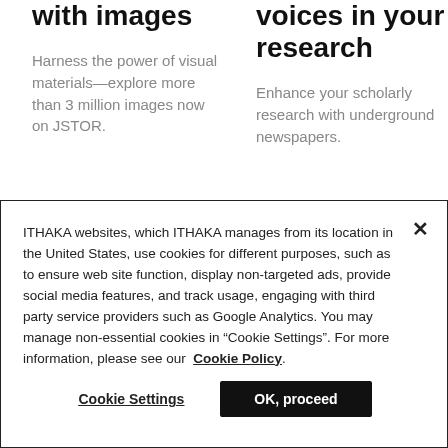work to life with images
Harness the power of visual materials—explore more than 3 million images now on JSTOR.
alternative voices in your research
Enhance your scholarly research with underground newspapers.
ITHAKA websites, which ITHAKA manages from its location in the United States, use cookies for different purposes, such as to ensure web site function, display non-targeted ads, provide social media features, and track usage, engaging with third party service providers such as Google Analytics. You may manage non-essential cookies in “Cookie Settings”. For more information, please see our Cookie Policy.
Cookie Settings
OK, proceed